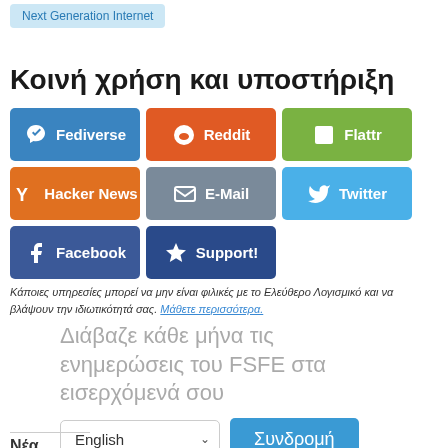Next Generation Internet
Κοινή χρήση και υποστήριξη
[Figure (infographic): Social sharing buttons: Fediverse (blue), Reddit (orange), Flattr (green), Hacker News (dark orange), E-Mail (grey), Twitter (light blue), Facebook (dark blue), Support! (navy blue)]
Κάποιες υπηρεσίες μπορεί να μην είναι φιλικές με το Ελεύθερο Λογισμικό και να βλάψουν την ιδιωτικότητά σας. Μάθετε περισσότερα.
Διάβαζε κάθε μήνα τις ενημερώσεις του FSFE στα εισερχόμενά σου
English  Συνδρομή
Ενημερωτικά δελτία
Νέα